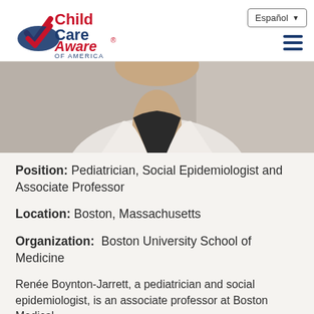ChildCare Aware of America — Español
[Figure (photo): Partial photo of a woman wearing a white blazer with a black top, cropped at shoulder/chest area, gray background]
Position: Pediatrician, Social Epidemiologist and Associate Professor
Location: Boston, Massachusetts
Organization:  Boston University School of Medicine
Renée Boynton-Jarrett, a pediatrician and social epidemiologist, is an associate professor at Boston Medical